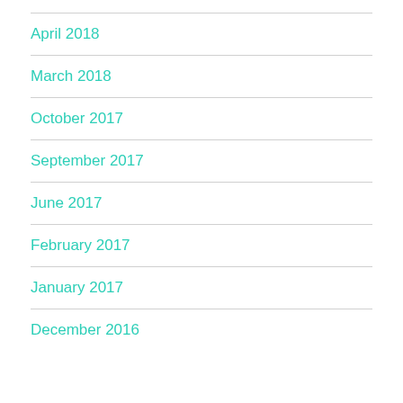April 2018
March 2018
October 2017
September 2017
June 2017
February 2017
January 2017
December 2016